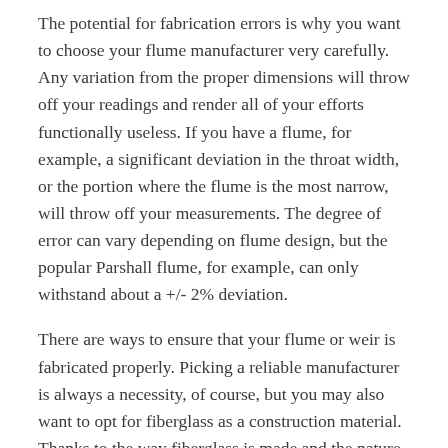The potential for fabrication errors is why you want to choose your flume manufacturer very carefully. Any variation from the proper dimensions will throw off your readings and render all of your efforts functionally useless. If you have a flume, for example, a significant deviation in the throat width, or the portion where the flume is the most narrow, will throw off your measurements. The degree of error can vary depending on flume design, but the popular Parshall flume, for example, can only withstand about a +/- 2% deviation.
There are ways to ensure that your flume or weir is fabricated properly. Picking a reliable manufacturer is always a necessity, of course, but you may also want to opt for fiberglass as a construction material. Thanks to the way fiberglass is made and the nature of the material itself, you can decrease the likelihood of any fabrication errors to a greater degree than any other material can offer.
Measurement Errors
The act of measuring a flow rate isn't foolproof. In fact, the only way you can get proper measurements is by measuring the right spot. Unfortunately, many people use the wrong spot for